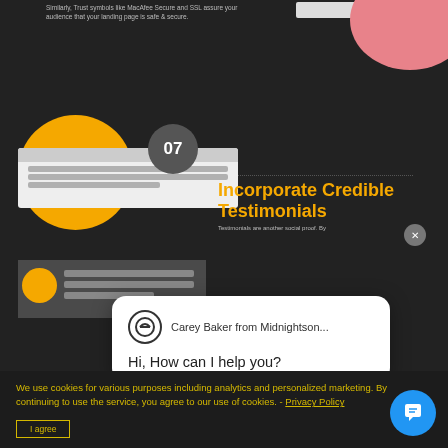[Figure (screenshot): Screenshot of a web page showing an infographic about landing pages with a dark background. Contains section 07 'Incorporate Credible Testimonials', a mockup browser window, yellow and pink decorative circles, a live chat popup from 'Carey Baker from Midnightson...' saying 'Hi, How can I help you?', a chat input field saying 'Type your message', an accessibility button, and a cookie consent banner at the bottom saying 'We use cookies for various purposes including analytics and personalized marketing. By continuing to use the service, you agree to our use of cookies. - Privacy Policy' with an 'I agree' button and a chat widget button.]